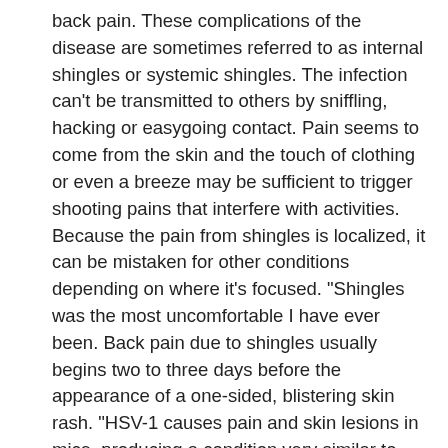back pain. These complications of the disease are sometimes referred to as internal shingles or systemic shingles. The infection can't be transmitted to others by sniffling, hacking or easygoing contact. Pain seems to come from the skin and the touch of clothing or even a breeze may be sufficient to trigger shooting pains that interfere with activities. Because the pain from shingles is localized, it can be mistaken for other conditions depending on where it's focused. "Shingles was the most uncomfortable I have ever been. Back pain due to shingles usually begins two to three days before the appearance of a one-sided, blistering skin rash. "HSV-1 causes pain and skin lesions in mice, producing a condition very similar to shingles," Cunha said. For people with postherpetic neuralgia, pain does not subside when the rash goes away. Painful swelling of the lymph nodes is one of the symptoms of shingles. Her work has appeared in several professional and peer-reviewed